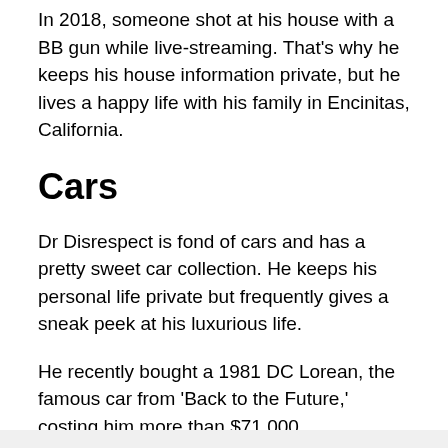In 2018, someone shot at his house with a BB gun while live-streaming. That’s why he keeps his house information private, but he lives a happy life with his family in Encinitas, California.
Cars
Dr Disrespect is fond of cars and has a pretty sweet car collection. He keeps his personal life private but frequently gives a sneak peek at his luxurious life.
He recently bought a 1981 DC Lorean, the famous car from ‘Back to the Future,’ costing him more than $71,000.